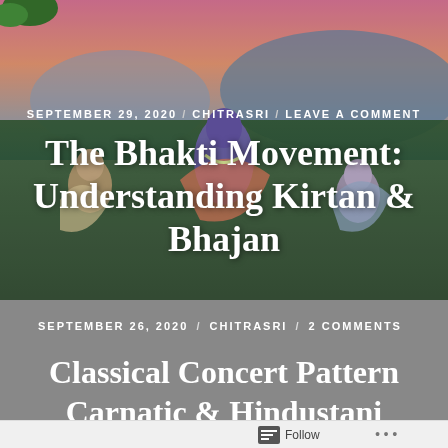[Figure (illustration): Colorful painting/illustration of Krishna and devotees dancing, with pink/blue sky background. Used as hero image for blog post about The Bhakti Movement.]
SEPTEMBER 29, 2020 / CHITRASRI / LEAVE A COMMENT
The Bhakti Movement: Understanding Kirtan & Bhajan
SEPTEMBER 26, 2020 / CHITRASRI / 2 COMMENTS
Classical Concert Pattern Carnatic & Hindustani
Follow